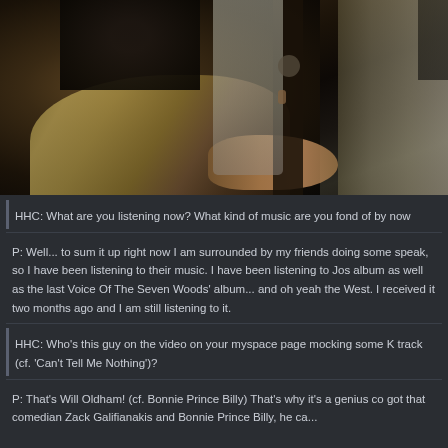[Figure (photo): Black and white / darkly toned photograph of a person wearing a fur coat and scarf sitting indoors, with a wooden door and curtained window in the background. The person appears to be near a typewriter or desk.]
HHC: What are you listening now? What kind of music are you fond of by now
P: Well... to sum it up right now I am surrounded by my friends doing some speak, so I have been listening to their music. I have been listening to Jos album as well as the last Voice Of The Seven Woods' album... and oh yeah the West. I received it two months ago and I am still listening to it.
HHC: Who's this guy on the video on your myspace page mocking some K track (cf. 'Can't Tell Me Nothing')?
P: That's Will Oldham! (cf. Bonnie Prince Billy) That's why it's a genius co got that comedian Zack Galifianakis and Bonnie Prince Billy, he ca...